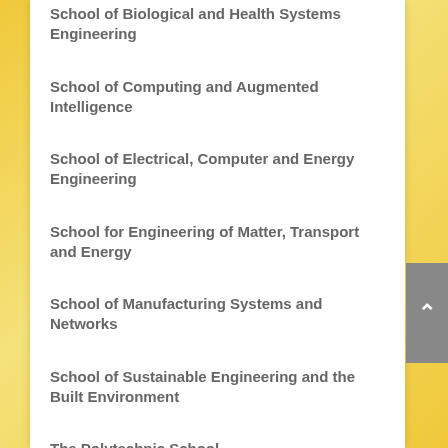School of Biological and Health Systems Engineering
School of Computing and Augmented Intelligence
School of Electrical, Computer and Energy Engineering
School for Engineering of Matter, Transport and Energy
School of Manufacturing Systems and Networks
School of Sustainable Engineering and the Built Environment
The Polytechnic School